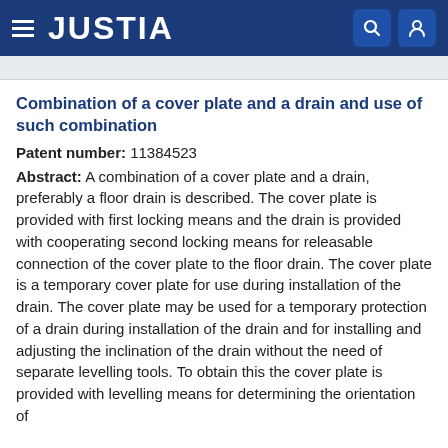JUSTIA
Combination of a cover plate and a drain and use of such combination
Patent number: 11384523
Abstract: A combination of a cover plate and a drain, preferably a floor drain is described. The cover plate is provided with first locking means and the drain is provided with cooperating second locking means for releasable connection of the cover plate to the floor drain. The cover plate is a temporary cover plate for use during installation of the drain. The cover plate may be used for a temporary protection of a drain during installation of the drain and for installing and adjusting the inclination of the drain without the need of separate levelling tools. To obtain this the cover plate is provided with levelling means for determining the orientation of